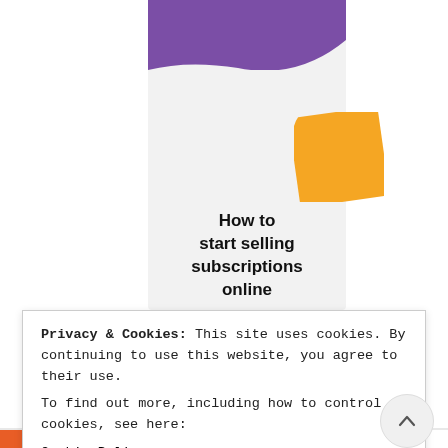[Figure (illustration): A card-style graphic with a purple shape at top and an orange shape in the middle-right, on a light gray background, showing the book/guide cover for 'How to start selling subscriptions online']
How to start selling subscriptions online
Privacy & Cookies: This site uses cookies. By continuing to use this website, you agree to their use.
To find out more, including how to control cookies, see here:
Cookie Policy
CLOSE AND ACCEPT